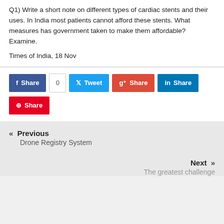Q1) Write a short note on different types of cardiac stents and their uses. In India most patients cannot afford these stents. What measures has government taken to make them affordable? Examine.
Times of India, 18 Nov
[Figure (other): Social share buttons: Facebook Share with count 0, Tweet, Google+ Share, LinkedIn Share, Pinterest Share]
« Previous
Drone Registry System
Next »
The greatest challenge